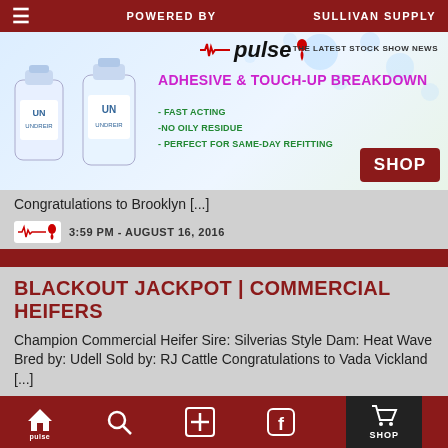POWERED BY  SULLIVAN SUPPLY | THE LATEST STOCK SHOW NEWS
[Figure (infographic): Advertisement banner for Undref adhesive and touch-up breakdown product by Pulse/Sullivan Supply. Shows two product bottles on left, headline 'ADHESIVE & TOUCH-UP BREAKDOWN', bullet points: FAST ACTING, NO OILY RESIDUE, PERFECT FOR SAME-DAY REFITTING, and a dark red SHOP button.]
Congratulations to Brooklyn [...]
3:59 PM - AUGUST 16, 2016
BLACKOUT JACKPOT | COMMERCIAL HEIFERS
Champion Commercial Heifer Sire: Silverias Style Dam: Heat Wave Bred by: Udell Sold by: RJ Cattle Congratulations to Vada Vickland [...]
6:18 PM - MARCH 19, 2016
Home | Search | + | Facebook | SHOP